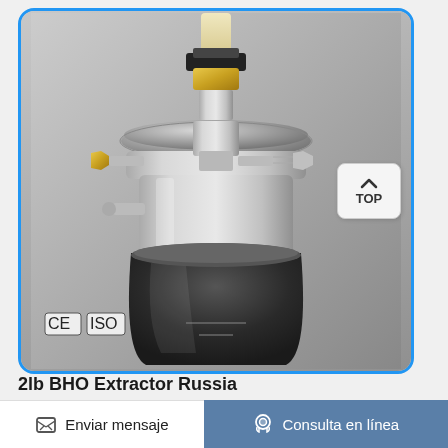[Figure (photo): A stainless steel BHO extractor device with a cylindrical chamber, clamp ring, brass fittings, bolts, and a pressure valve on top. CE and ISO certification badges visible in the lower left corner of the photo. A 'TOP' navigation button overlays the upper right area of the image.]
2lb BHO Extractor Russia
Enviar mensaje
Consulta en línea